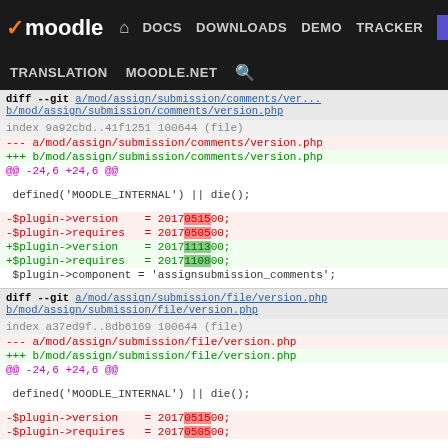moodle DOCS DOWNLOADS DEMO TRACKER DEV TRANSLATION MOODLE.NET
diff --git a/mod/assign/submission/comments/version.php b/mod/assign/submission/comments/version.php
index 9a92cbd..41f1251 100644 (file)
--- a/mod/assign/submission/comments/version.php
+++ b/mod/assign/submission/comments/version.php
@@ -24,6 +24,6 @@

 defined('MOODLE_INTERNAL') || die();

-$plugin->version    = 2017051500;
-$plugin->requires   = 2017050500;
+$plugin->version    = 2017111300;
+$plugin->requires   = 2017110800;
 $plugin->component = 'assignsubmission_comments';

diff --git a/mod/assign/submission/file/version.php b/mod/assign/submission/file/version.php
index a37ed9f..8db6169 100644 (file)
--- a/mod/assign/submission/file/version.php
+++ b/mod/assign/submission/file/version.php
@@ -24,6 +24,6 @@

 defined('MOODLE_INTERNAL') || die();

-$plugin->version    = 2017051500;
-$plugin->requires   = 2017050500;